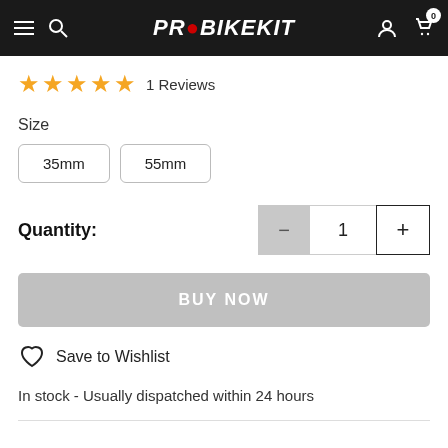PROBIKEKIT
★★★★★ 1 Reviews
Size
35mm
55mm
Quantity: 1
BUY NOW
Save to Wishlist
In stock - Usually dispatched within 24 hours